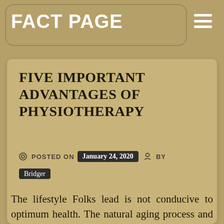FACT PAGE
FIVE IMPORTANT ADVANTAGES OF PHYSIOTHERAPY
POSTED ON January 24, 2020 BY Bridger
The lifestyle Folks lead is not conducive to optimum health. The natural aging process and the combination of too much time a